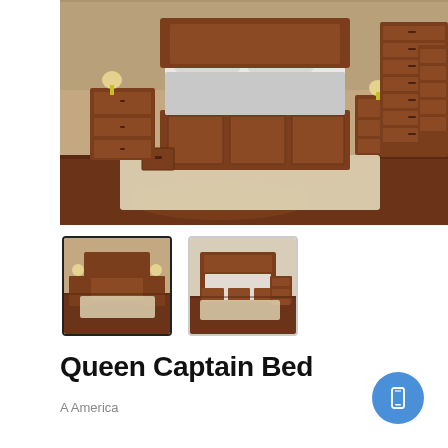[Figure (photo): Bedroom furniture set with a queen captain bed with storage drawers, two nightstands with lamps, a tall chest of drawers, and a wide dresser, all in warm brown wood finish on hardwood floor with a cream rug.]
[Figure (photo): Thumbnail 1: Bedroom set with queen captain bed, matching nightstands and dressers in brown wood finish.]
[Figure (photo): Thumbnail 2: Close-up of queen captain bed with white bedding and matching nightstand.]
Queen Captain Bed
A America